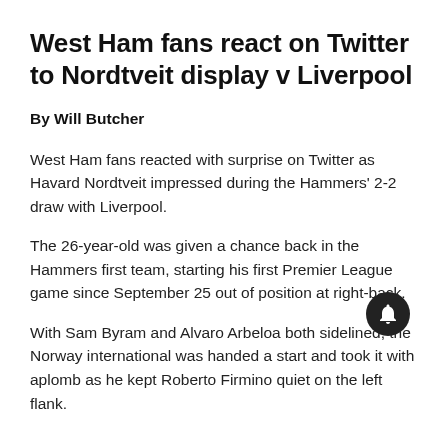West Ham fans react on Twitter to Nordtveit display v Liverpool
By Will Butcher
West Ham fans reacted with surprise on Twitter as Havard Nordtveit impressed during the Hammers' 2-2 draw with Liverpool.
The 26-year-old was given a chance back in the Hammers first team, starting his first Premier League game since September 25 out of position at right-back.
With Sam Byram and Alvaro Arbeloa both sidelined, the Norway international was handed a start and took it with aplomb as he kept Roberto Firmino quiet on the left flank.